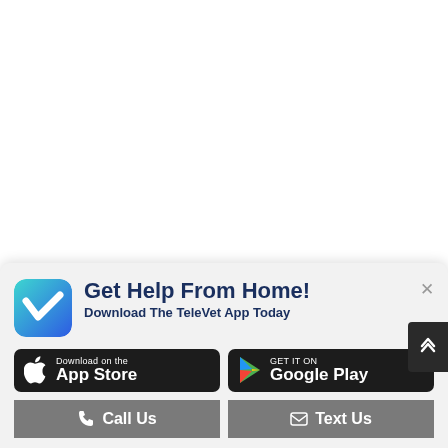[Figure (screenshot): A popup/banner at the bottom of a white webpage promoting the TeleVet app. The popup shows the TeleVet logo (a teal/blue gradient square with a white V checkmark), the headline 'Get Help From Home!', subheadline 'Download The TeleVet App Today', App Store and Google Play download buttons, and two grey action buttons: 'Call Us' and 'Text Us'. A close (X) button is visible in the top right of the popup. A dark scroll-to-top arrow button appears at the right edge.]